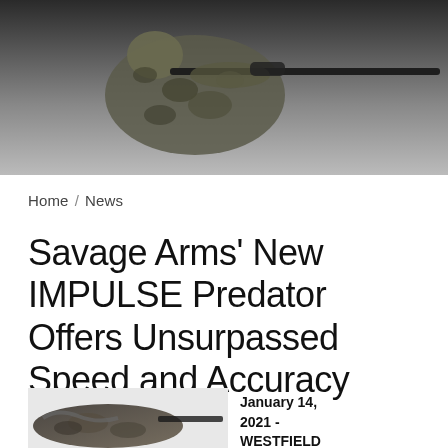[Figure (photo): Person in camouflage gear aiming a rifle, set against a gradient gray background. Hero banner image.]
Home / News
Savage Arms' New IMPULSE Predator Offers Unsurpassed Speed and Accuracy
January 14, 2021 - WESTFIELD
[Figure (photo): Partial view of a rifle in camouflage pattern, bottom-left corner of the page.]